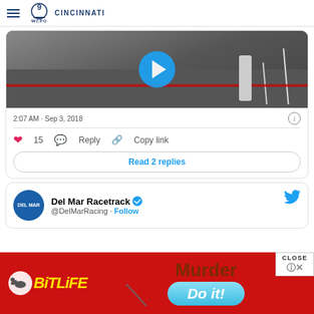WCPO CINCINNATI
[Figure (screenshot): Video thumbnail showing parking lot scene with play button overlay]
2:07 AM · Sep 3, 2018
15  Reply  Copy link
Read 2 replies
Del Mar Racetrack @DelMarRacing · Follow
[Figure (screenshot): BitLife advertisement banner with Murder / Do it! text]